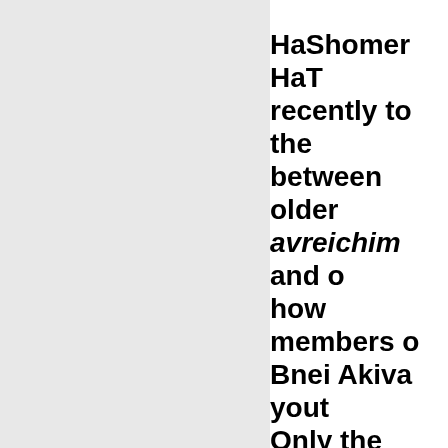HaShomer HaTzair recently to the between older avreichim and o how members o Bnei Akiva yout Only the charei which is the rea wonder at thes At the first mee their way to we curiosity. . . . [A had ever wond sudden the rea that they are n were not just l